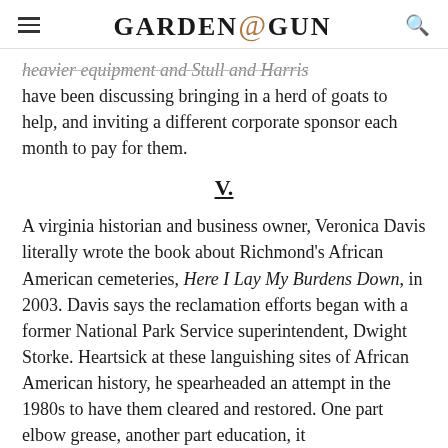GARDEN&GUN
heavier equipment and Stull and Harris have been discussing bringing in a herd of goats to help, and inviting a different corporate sponsor each month to pay for them.
V.
A virginia historian and business owner, Veronica Davis literally wrote the book about Richmond's African American cemeteries, Here I Lay My Burdens Down, in 2003. Davis says the reclamation efforts began with a former National Park Service superintendent, Dwight Storke. Heartsick at these languishing sites of African American history, he spearheaded an attempt in the 1980s to have them cleared and restored. One part elbow grease, another part education, it